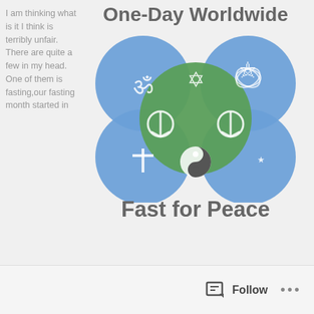I am thinking what is it I think is terribly unfair. There are quite a few in my head. One of them is fasting,our fasting month started in
[Figure (illustration): One-Day Worldwide Fast for Peace graphic with religious symbols (Om, Star of David, Triquetra, Peace signs, Cross, Yin-Yang, Crescent and Star) on blue and green circular bubbles]
Fast_fast_fast (Photo credit: Wikipedia)
the month of July and continued till the first week in August. I have no trouble with it. But at the same time to fast from before sunrise to sunset in the month of July is where it gets kind of difficult. Depending on where you live it is over eighteen solid hours with no food or drink. We get the same credit as those who fast for much less time than us.It is all because of
Follow ...